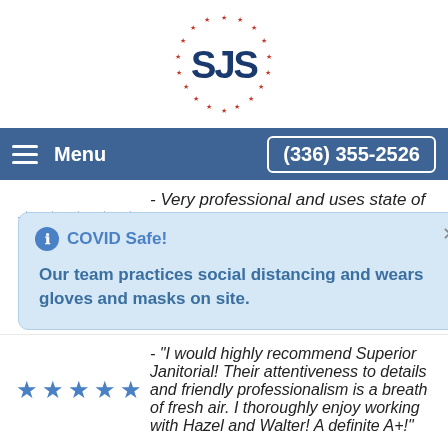[Figure (logo): SJS logo: circular ring of red stars with dark blue 'SJS' text in the center]
[Figure (screenshot): Navigation bar with hamburger menu icon, 'Menu' text on left, and phone number '(336) 355-2526' in a box on right, on dark blue background]
★★★★★ - Very professional and uses state of the art equipment....If you want perfection this is the the
ℹ COVID Safe!

Our team practices social distancing and wears gloves and masks on site.
★★★★★ - "I would highly recommend Superior Janitorial! Their attentiveness to details and friendly professionalism is a breath of fresh air. I thoroughly enjoy working with Hazel and Walter! A definite A+!"